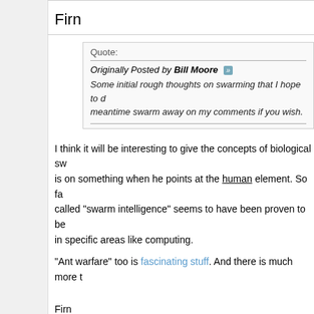Firn
Quote:
Originally Posted by Bill Moore »
Some initial rough thoughts on swarming that I hope to d... meantime swarm away on my comments if you wish.
I think it will be interesting to give the concepts of biological sw... is on something when he points at the human element. So far... called "swarm intelligence" seems to have been proven to be... in specific areas like computing.
"Ant warfare" too is fascinating stuff. And there is much more t...
Firn
Fuchs
I personally have an interest in how we could exploit 'natural...